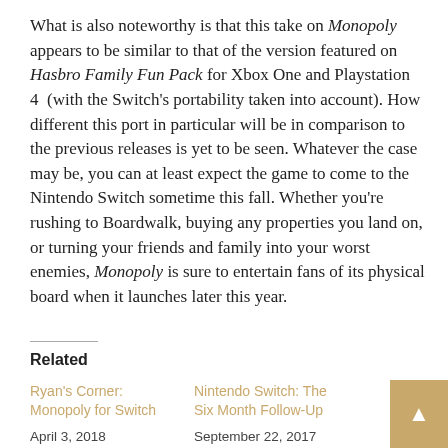What is also noteworthy is that this take on Monopoly appears to be similar to that of the version featured on Hasbro Family Fun Pack for Xbox One and Playstation 4  (with the Switch's portability taken into account). How different this port in particular will be in comparison to the previous releases is yet to be seen. Whatever the case may be, you can at least expect the game to come to the Nintendo Switch sometime this fall. Whether you're rushing to Boardwalk, buying any properties you land on, or turning your friends and family into your worst enemies, Monopoly is sure to entertain fans of its physical board when it launches later this year.
Related
Ryan's Corner: Monopoly for Switch — April 3, 2018
Nintendo Switch: The Six Month Follow-Up — September 22, 2017